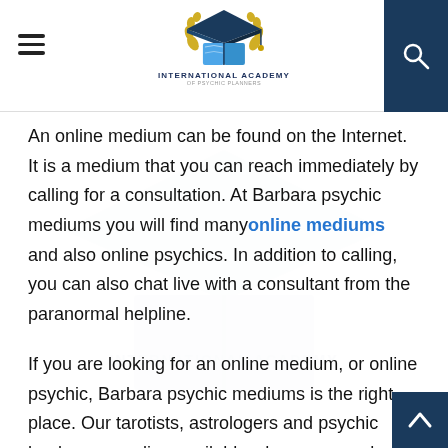International Academy
An online medium can be found on the Internet. It is a medium that you can reach immediately by calling for a consultation. At Barbara psychic mediums you will find many online mediums and also online psychics. In addition to calling, you can also chat live with a consultant from the paranormal helpline.
If you are looking for an online medium, or online psychic, Barbara psychic mediums is the right place. Our tarotists, astrologers and psychic healers are online available when you need them. You can go for a phone psychic reading almost 24 hours a day. On the homepage you can see which online medium is available to you now. Contacting an online medium has many advantages. There are no waiting times and a consultation is inexpensive if you compare it with a consultation at someone's home. You are completely